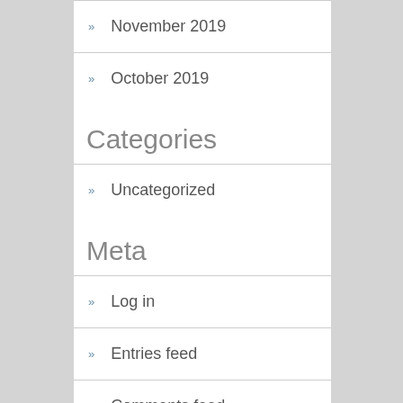November 2019
October 2019
Categories
Uncategorized
Meta
Log in
Entries feed
Comments feed
WordPress.org